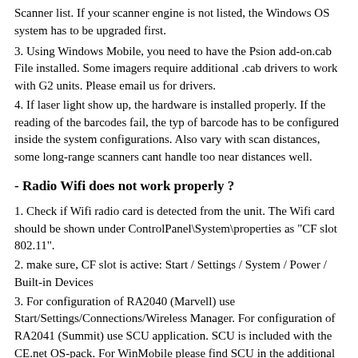Scanner list. If your scanner engine is not listed, the Windows OS system has to be upgraded first.
3. Using Windows Mobile, you need to have the Psion add-on.cab File installed. Some imagers require additional .cab drivers to work with G2 units. Please email us for drivers.
4. If laser light show up, the hardware is installed properly. If the reading of the barcodes fail, the typ of barcode has to be configured inside the system configurations. Also vary with scan distances, some long-range scanners cant handle too near distances well.
- Radio Wifi does not work properly ?
1. Check if Wifi radio card is detected from the unit. The Wifi card should be shown under ControlPanel\System\properties as "CF slot 802.11".
2. make sure, CF slot is active: Start / Settings / System / Power / Built-in Devices
3. For configuration of RA2040 (Marvell) use Start/Settings/Connections/Wireless Manager. For configuration of RA2041 (Summit) use SCU application. SCU is included with the CE.net OS-pack. For WinMobile please find SCU in the additional add-on .CAP.
- What Hardware Expansions are available ?